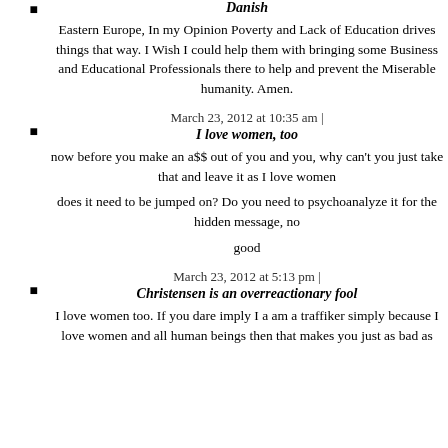Danish
Eastern Europe, In my Opinion Poverty and Lack of Education drives things that way. I Wish I could help them with bringing some Business and Educational Professionals there to help and prevent the Miserable humanity. Amen.
March 23, 2012 at 10:35 am | I love women, too
now before you make an a$$ out of you and you, why can't you just take that and leave it as I love women
does it need to be jumped on? Do you need to psychoanalyze it for the hidden message, no
good
March 23, 2012 at 5:13 pm | Christensen is an overreactionary fool
I love women too. If you dare imply I a am a traffiker simply because I love women and all human beings then that makes you just as bad as